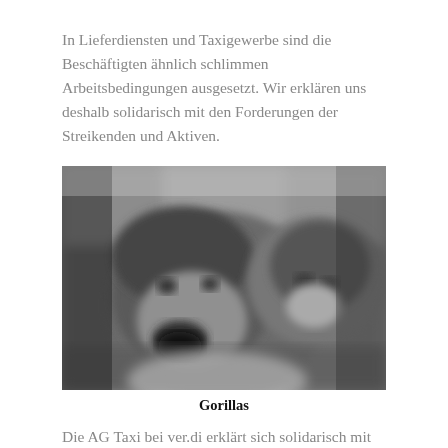In Lieferdiensten und Taxigewerbe sind die Beschäftigten ähnlich schlimmen Arbeitsbedingungen ausgesetzt. Wir erklären uns deshalb solidarisch mit den Forderungen der Streikenden und Aktiven.
[Figure (photo): Black and white close-up photograph of gorillas]
Gorillas
Die AG Taxi bei ver.di erklärt sich solidarisch mit den